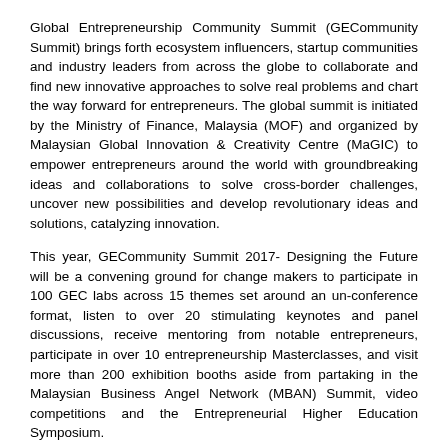Global Entrepreneurship Community Summit (GECommunity Summit) brings forth ecosystem influencers, startup communities and industry leaders from across the globe to collaborate and find new innovative approaches to solve real problems and chart the way forward for entrepreneurs. The global summit is initiated by the Ministry of Finance, Malaysia (MOF) and organized by Malaysian Global Innovation & Creativity Centre (MaGIC) to empower entrepreneurs around the world with groundbreaking ideas and collaborations to solve cross-border challenges, uncover new possibilities and develop revolutionary ideas and solutions, catalyzing innovation.
This year, GECommunity Summit 2017- Designing the Future will be a convening ground for change makers to participate in 100 GEC labs across 15 themes set around an un-conference format, listen to over 20 stimulating keynotes and panel discussions, receive mentoring from notable entrepreneurs, participate in over 10 entrepreneurship Masterclasses, and visit more than 200 exhibition booths aside from partaking in the Malaysian Business Angel Network (MBAN) Summit, video competitions and the Entrepreneurial Higher Education Symposium.
About Malaysian Global Innovation & Creativity Centre (MaGIC)